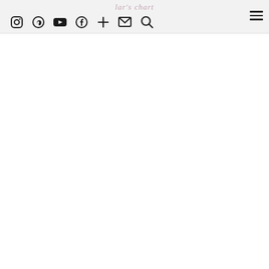lar's chart
[Figure (screenshot): Website navigation header bar with social media icons: Instagram, Pinterest, YouTube, Facebook, plus sign, email/envelope, search/magnifier, and a hamburger menu on the right. Background is light gray.]